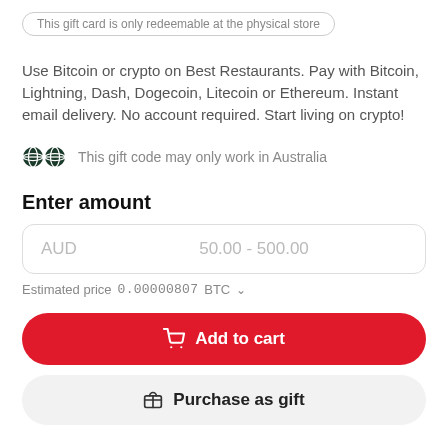This gift card is only redeemable at the physical store
Use Bitcoin or crypto on Best Restaurants. Pay with Bitcoin, Lightning, Dash, Dogecoin, Litecoin or Ethereum. Instant email delivery. No account required. Start living on crypto!
This gift code may only work in Australia
Enter amount
AUD  50.00 - 500.00
Estimated price 0.00000807 BTC
Add to cart
Purchase as gift